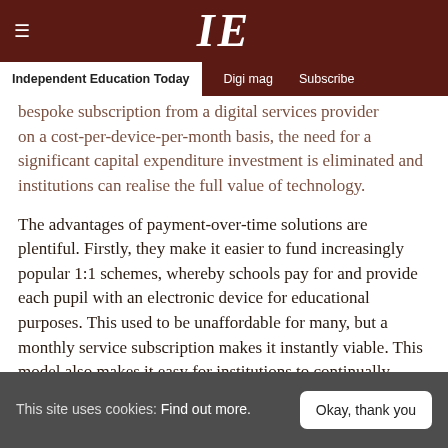IE — Independent Education Today | Digi mag | Subscribe
bespoke subscription from a digital services provider on a cost-per-device-per-month basis, the need for a significant capital expenditure investment is eliminated and institutions can realise the full value of technology.
The advantages of payment-over-time solutions are plentiful. Firstly, they make it easier to fund increasingly popular 1:1 schemes, whereby schools pay for and provide each pupil with an electronic device for educational purposes. This used to be unaffordable for many, but a monthly service subscription makes it instantly viable. This model also makes it easy for institutions to continually
This site uses cookies: Find out more.